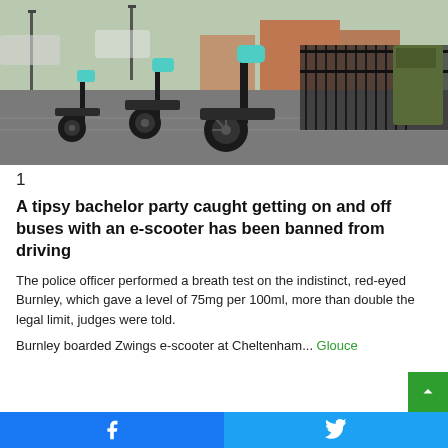[Figure (photo): Several teal-green electric scooters (Zwings brand) parked on a pavement beside iron railings and a green metal post box. UK street scene, brick buildings and parked cars visible in background.]
1
A tipsy bachelor party caught getting on and off buses with an e-scooter has been banned from driving
The police officer performed a breath test on the indistinct, red-eyed Burnley, which gave a level of 75mg per 100ml, more than double the legal limit, judges were told.
Burnley boarded Zwings e-scooter at Cheltenham... Glouce
Facebook share   Twitter share